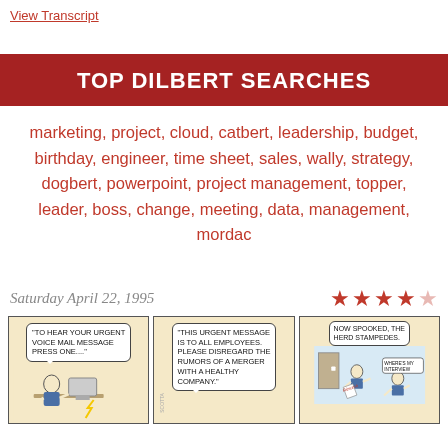View Transcript
TOP DILBERT SEARCHES
marketing, project, cloud, catbert, leadership, budget, birthday, engineer, time sheet, sales, wally, strategy, dogbert, powerpoint, project management, topper, leader, boss, change, meeting, data, management, mordac
Saturday April 22, 1995
[Figure (illustration): Star rating showing 4 out of 5 red stars]
[Figure (illustration): Dilbert comic strip from April 22 1995 with three panels. Panel 1: speech bubble says 'TO HEAR YOUR URGENT VOICE MAIL MESSAGE PRESS ONE...' Panel 2: speech bubble says 'THIS URGENT MESSAGE IS TO ALL EMPLOYEES. PLEASE DISREGARD THE RUMORS OF A MERGER WITH A HEALTHY COMPANY.' Panel 3: 'NOW SPOOKED, THE HERD STAMPEDES.' with characters running, one holding a Resume.]